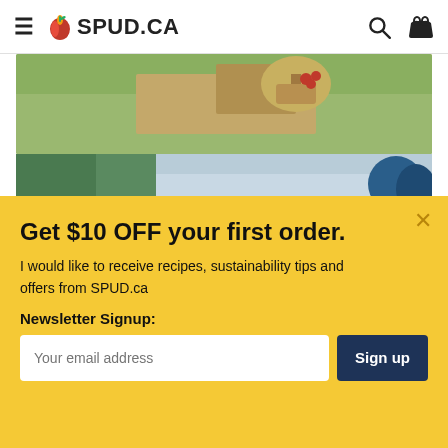≡ 🍎 SPUD.CA
[Figure (photo): Outdoor picnic scene with basket of cherries on a blanket on grass]
[Figure (photo): Outdoor scene with trees and water, partial blue object visible]
Get $10 OFF your first order.
I would like to receive recipes, sustainability tips and offers from SPUD.ca
Newsletter Signup:
Your email address  Sign up